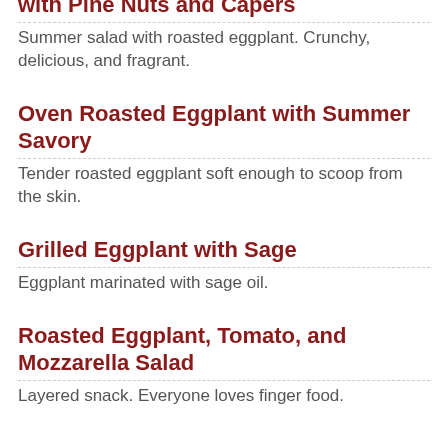Roasted Japanese Eggplant Salad with Pine Nuts and Capers
Summer salad with roasted eggplant. Crunchy, delicious, and fragrant.
Oven Roasted Eggplant with Summer Savory
Tender roasted eggplant soft enough to scoop from the skin.
Grilled Eggplant with Sage
Eggplant marinated with sage oil.
Roasted Eggplant, Tomato, and Mozzarella Salad
Layered snack. Everyone loves finger food.